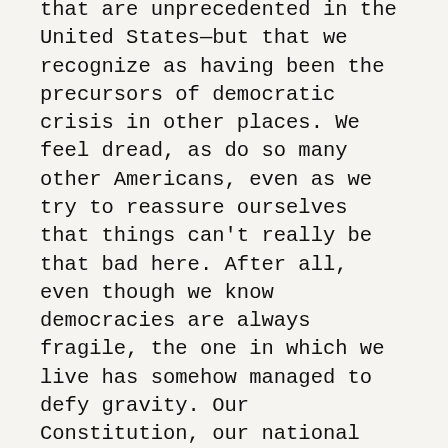that are unprecedented in the United States—but that we recognize as having been the precursors of democratic crisis in other places. We feel dread, as do so many other Americans, even as we try to reassure ourselves that things can't really be that bad here. After all, even though we know democracies are always fragile, the one in which we live has somehow managed to defy gravity. Our Constitution, our national creed of freedom and equality, our historically robust middle class, our high levels of wealth and education, and our large, diversified private sector—all of these should inoculate us from the kind of democratic breakdown that has occurred elsewhere.
Yet, we worry. American politicians now treat